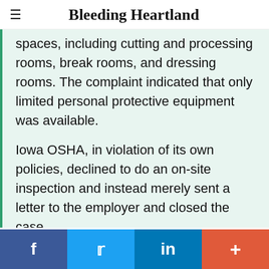Bleeding Heartland
spaces, including cutting and processing rooms, break rooms, and dressing rooms. The complaint indicated that only limited personal protective equipment was available.

Iowa OSHA, in violation of its own policies, declined to do an on-site inspection and instead merely sent a letter to the employer and closed the case.
f  •  [Twitter bird icon]  •  in  •  +